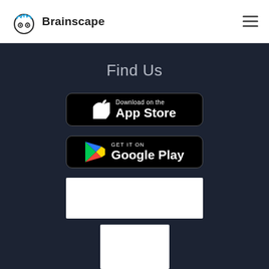Brainscape
Find Us
[Figure (screenshot): Download on the App Store button — black rounded rectangle with Apple logo and text 'Download on the App Store']
[Figure (screenshot): GET IT ON Google Play button — black rounded rectangle with Google Play triangle logo and text 'GET IT ON Google Play']
[Figure (other): White rectangle placeholder (large)]
[Figure (other): White rectangle placeholder (small/square)]